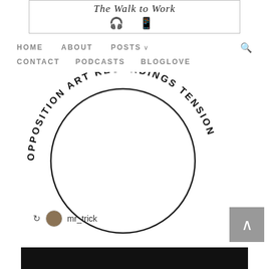[Figure (logo): The Walk to Work blog header with handwritten script title and headphones/phone icons inside a bordered box]
HOME   ABOUT   POSTS v   CONTACT   PODCASTS   BLOGLOVE
[Figure (logo): Opposition Art Recordings circular logo with text arranged in a circle around a large empty circle]
mr_trick
[Figure (photo): Black bar/image at the bottom of the page]